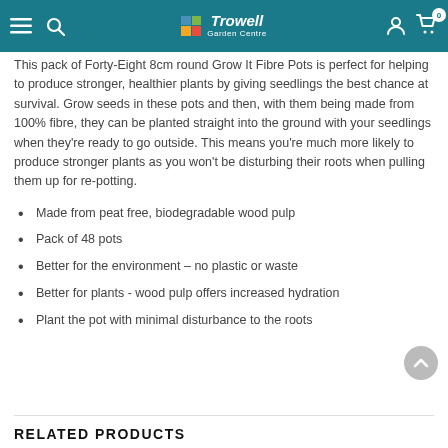Trowell Garden Centre
This pack of Forty-Eight 8cm round Grow It Fibre Pots is perfect for helping to produce stronger, healthier plants by giving seedlings the best chance at survival. Grow seeds in these pots and then, with them being made from 100% fibre, they can be planted straight into the ground with your seedlings when they're ready to go outside. This means you're much more likely to produce stronger plants as you won't be disturbing their roots when pulling them up for re-potting.
Made from peat free, biodegradable wood pulp
Pack of 48 pots
Better for the environment – no plastic or waste
Better for plants - wood pulp offers increased hydration
Plant the pot with minimal disturbance to the roots
RELATED PRODUCTS